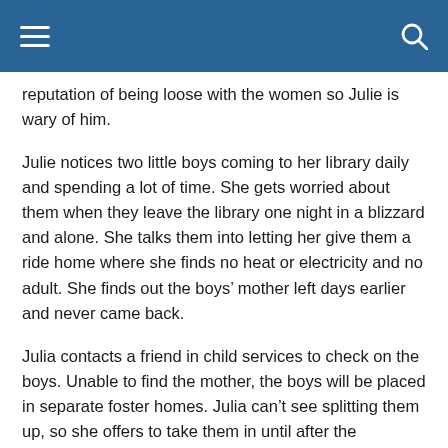reputation of being loose with the women so Julie is wary of him.
Julie notices two little boys coming to her library daily and spending a lot of time. She gets worried about them when they leave the library one night in a blizzard and alone. She talks them into letting her give them a ride home where she finds no heat or electricity and no adult. She finds out the boys’ mother left days earlier and never came back.
Julia contacts a friend in child services to check on the boys. Unable to find the mother, the boys will be placed in separate foster homes. Julia can’t see splitting them up, so she offers to take them in until after the holidays. Not knowing how to take care of little boys, Julia enlists